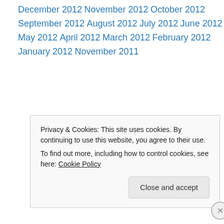December 2012
November 2012
October 2012
September 2012
August 2012
July 2012
June 2012
May 2012
April 2012
March 2012
February 2012
January 2012
November 2011
Privacy & Cookies: This site uses cookies. By continuing to use this website, you agree to their use.
To find out more, including how to control cookies, see here: Cookie Policy